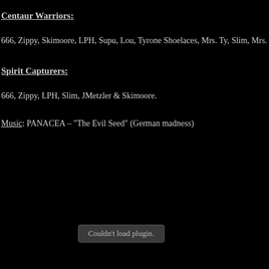Centaur Warriors:
666, Zippy, Skimoore, LPH, Supu, Lou, Tyrone Shoelaces, Mrs. Ty, Slim, Mrs. Slim, Rune
Spirit Capturers:
666, Zippy, LPH, Slim, JMetzler & Skimoore.
Music: PANACEA – "The Evil Seed" (German madness)
Couldn't load plugin.